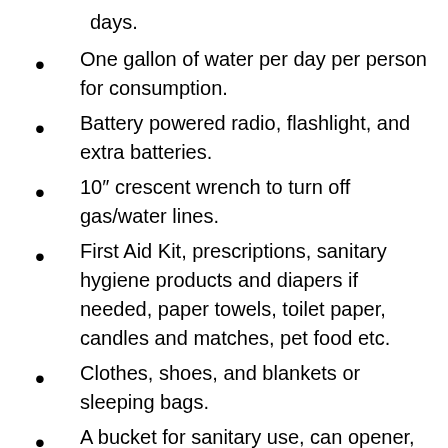days.
One gallon of water per day per person for consumption.
Battery powered radio, flashlight, and extra batteries.
10″ crescent wrench to turn off gas/water lines.
First Aid Kit, prescriptions, sanitary hygiene products and diapers if needed, paper towels, toilet paper, candles and matches, pet food etc.
Clothes, shoes, and blankets or sleeping bags.
A bucket for sanitary use, can opener, ax, hammer, shovel, screwdrivers, etc.
Phone list and extra cash